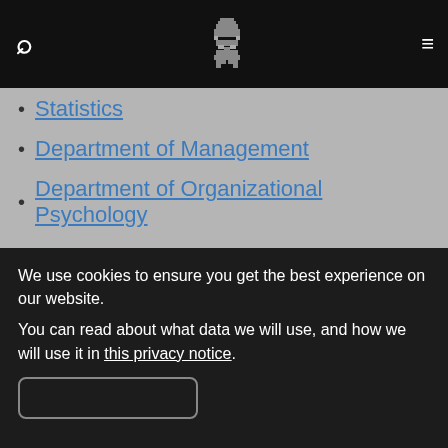Navigation bar with search, logo, and menu
Statistics
Department of Management
Department of Organizational Psychology
SCHOOL OF LAW
Department of Criminology
Department of Law
SCHOOL OF SCIENCE
Department of Biological Sciences
We use cookies to ensure you get the best experience on our website.
You can read about what data we will use, and how we will use it in this privacy notice.